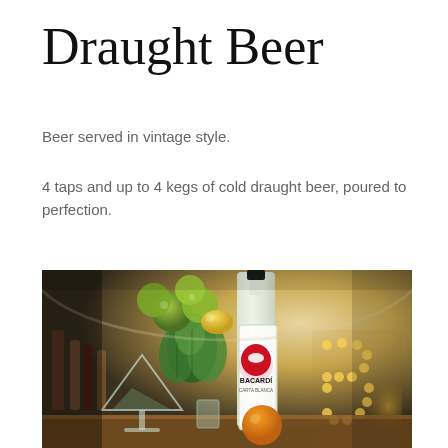Draught Beer
Beer served in vintage style.
4 taps and up to 4 kegs of cold draught beer, poured to perfection.
[Figure (photo): Bar scene with a Bacardi Carta Blanca rum bottle, fresh limes, lemons, mint leaves, an orange, and a cocktail glass on a bar counter. Warm bokeh lighting in the background showing illuminated letter B decoration.]